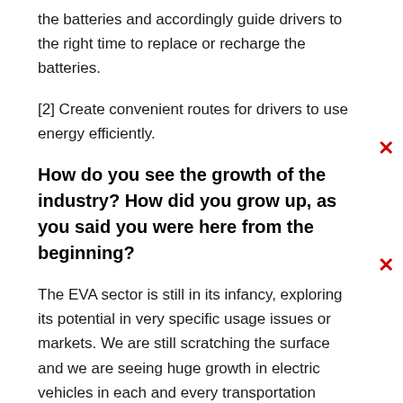the batteries and accordingly guide drivers to the right time to replace or recharge the batteries.
[2] Create convenient routes for drivers to use energy efficiently.
How do you see the growth of the industry? How did you grow up, as you said you were here from the beginning?
The EVA sector is still in its infancy, exploring its potential in very specific usage issues or markets. We are still scratching the surface and we are seeing huge growth in electric vehicles in each and every transportation industry. This adoption currently leads B2B markets in two- and three-wheelers. Also, we are seeing a big change in the private sector driven by the 2W market. This adoption is supported